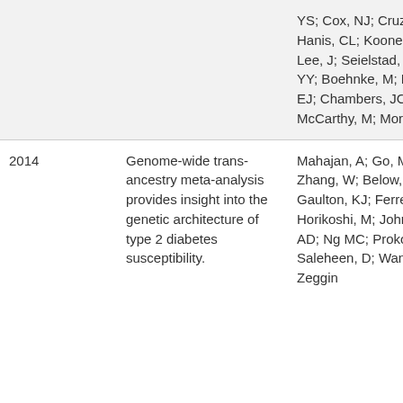| Year | Title | Authors |
| --- | --- | --- |
|  |  | YS; Cox, NJ; Cruz M; Hanis, CL; Kooner, J; Lee, J; Seielstad, M; Teo YY; Boehnke, M; Parra, EJ; Chambers, JC; T ES; McCarthy, M; Morris, AP |
| 2014 | Genome-wide trans-ancestry meta-analysis provides insight into the genetic architecture of type 2 diabetes susceptibility. | Mahajan, A; Go, MJ; Zhang, W; Below, JE; Gaulton, KJ; Ferreira, T; Horikoshi, M; Johnson, AD; Ng MC; Prokopenko Saleheen, D; Wang, X; Zeggin |